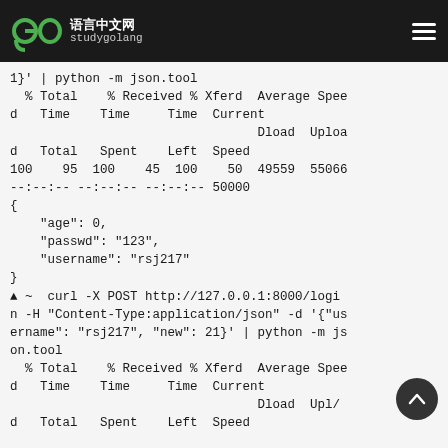go语言中文网 studygolang
1}' | python -m json.tool
  % Total    % Received % Xferd  Average Speed  Time    Time    Time  Current
                                 Dload  Upload  Total   Spent   Left  Speed
100    95  100    45  100    50  49559  55066 --:--:-- --:--:-- --:--:-- 50000
{
    "age": 0,
    "passwd": "123",
    "username": "rsj217"
}
▲ ~  curl -X POST http://127.0.0.1:8000/login -H "Content-Type:application/json" -d '{"username": "rsj217", "new": 21}' | python -m json.tool
  % Total    % Received % Xferd  Average Speed  Time    Time    Time  Current
                                 Dload  Upload  Total   Spent   Left  Speed